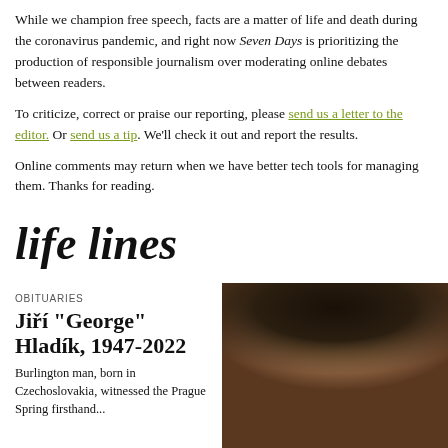While we champion free speech, facts are a matter of life and death during the coronavirus pandemic, and right now Seven Days is prioritizing the production of responsible journalism over moderating online debates between readers.
To criticize, correct or praise our reporting, please send us a letter to the editor. Or send us a tip. We'll check it out and report the results.
Online comments may return when we have better tech tools for managing them. Thanks for reading.
life lines
OBITUARIES
Jiří "George" Hladík, 1947-2022
Burlington man, born in Czechoslovakia, witnessed the Prague Spring firsthand...
[Figure (photo): Portrait photo of a person with dark hair pulled back, shown from shoulders up against a dark background]